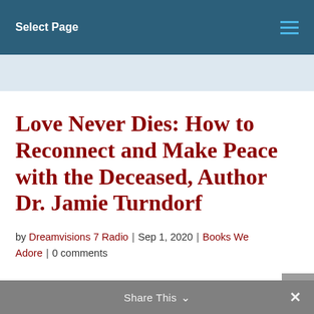Select Page
Love Never Dies: How to Reconnect and Make Peace with the Deceased, Author Dr. Jamie Turndorf
by Dreamvisions 7 Radio | Sep 1, 2020 | Books We Adore | 0 comments
Share This